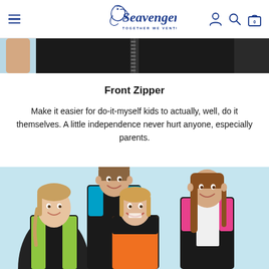Seavenger — TOGETHER WE VENTURE
[Figure (photo): Close-up photo of a black wetsuit with front zipper, light blue background visible on left side]
Front Zipper
Make it easier for do-it-myself kids to actually, well, do it themselves. A little independence never hurt anyone, especially parents.
[Figure (photo): Group of four smiling children wearing colorful Seavenger wetsuits (yellow-green, blue, orange, pink) against a light blue background]